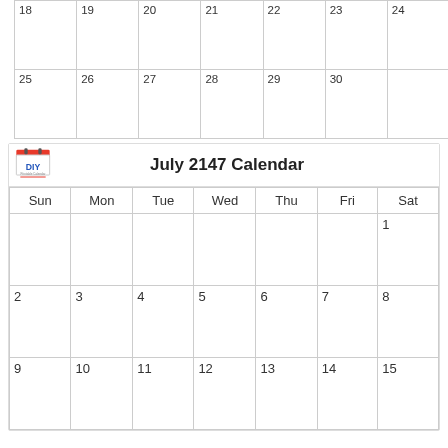| Sun | Mon | Tue | Wed | Thu | Fri | Sat |
| --- | --- | --- | --- | --- | --- | --- |
| 18 | 19 | 20 | 21 | 22 | 23 | 24 |
| 25 | 26 | 27 | 28 | 29 | 30 |  |
July 2147 Calendar
| Sun | Mon | Tue | Wed | Thu | Fri | Sat |
| --- | --- | --- | --- | --- | --- | --- |
|  |  |  |  |  |  | 1 |
| 2 | 3 | 4 | 5 | 6 | 7 | 8 |
| 9 | 10 | 11 | 12 | 13 | 14 | 15 |